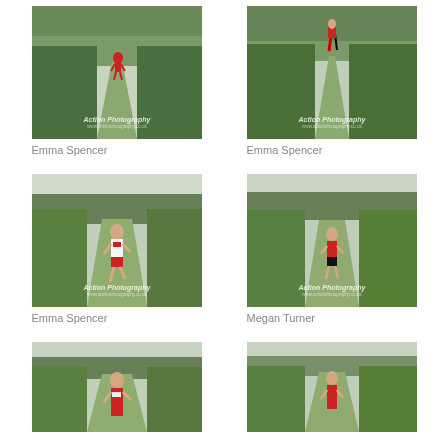[Figure (photo): Runner on a forest trail path, Action Photography watermark, Emma Spencer]
Emma Spencer
[Figure (photo): Runner on a forest trail path, Action Photography watermark, Emma Spencer]
Emma Spencer
[Figure (photo): Runner in red shorts on grass trail between bushes, Action Photography watermark, Emma Spencer]
Emma Spencer
[Figure (photo): Runner in red on grass trail between tall bushes, Action Photography watermark, Megan Turner]
Megan Turner
[Figure (photo): Runner in red on trail, Action Photography watermark, partially visible]
[Figure (photo): Runner on trail with forest background, Action Photography watermark, partially visible]